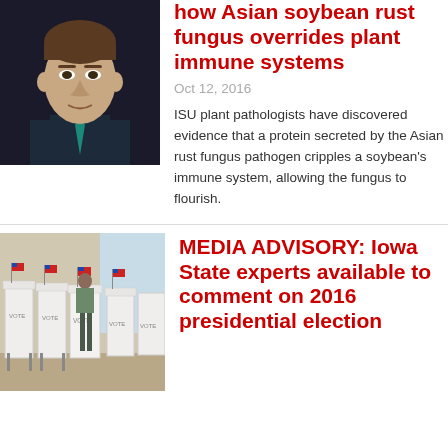[Figure (photo): Headshot of a man in a suit with a teal tie against a dark background]
how Asian soybean rust fungus overrides plant immune systems
Oct 12, 2016
ISU plant pathologists have discovered evidence that a protein secreted by the Asian rust fungus pathogen cripples a soybean’s immune system, allowing the fungus to flourish.
[Figure (photo): Voting booths with American flags and people voting]
MEDIA ADVISORY: Iowa State experts available to comment on 2016 presidential election